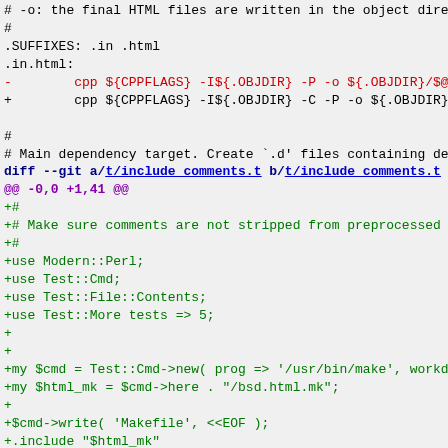# -o: the final HTML files are written in the object dire
#
.SUFFIXES: .in .html
.in.html:
-        cpp ${CPPFLAGS} -I${.OBJDIR} -P -o ${.OBJDIR}/$@ $
+        cpp ${CPPFLAGS} -I${.OBJDIR} -C -P -o ${.OBJDIR}/$

#
# Main dependency target. Create `.d' files containing de
diff --git a/t/include_comments.t b/t/include_comments.t
@@ -0,0 +1,41 @@
+#
+# Make sure comments are not stripped from preprocessed f
+#
+use Modern::Perl;
+use Test::Cmd;
+use Test::File::Contents;
+use Test::More tests => 5;
+
+
+my $cmd = Test::Cmd->new( prog => '/usr/bin/make', workdi
+my $html_mk = $cmd->here . "/bsd.html.mk";
+
+$cmd->write( 'Makefile', <<EOF );
+.include "$html_mk"
+EOF
+$cmd->write( 'index.in', '#include "comments.c"' );
+$cmd->write( 'comments.c', <<EOF );
+/* single line comment */
+--